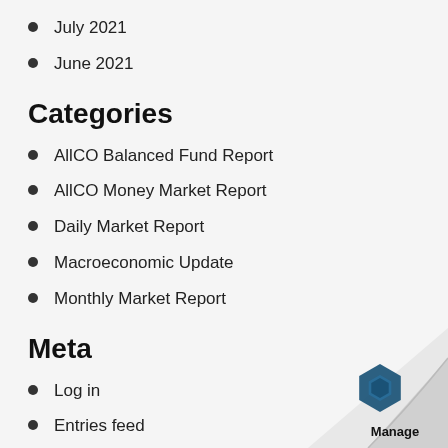July 2021
June 2021
Categories
AllCO Balanced Fund Report
AllCO Money Market Report
Daily Market Report
Macroeconomic Update
Monthly Market Report
Meta
Log in
Entries feed
Comments feed
[Figure (logo): Page curl with Manage logo in bottom-right corner, showing a hexagonal blue icon and the text 'Manage']